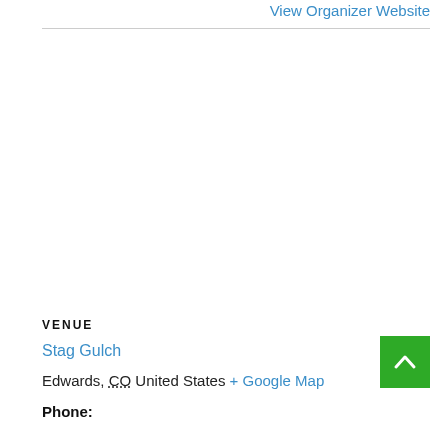View Organizer Website
VENUE
Stag Gulch
Edwards, CO United States + Google Map
Phone: